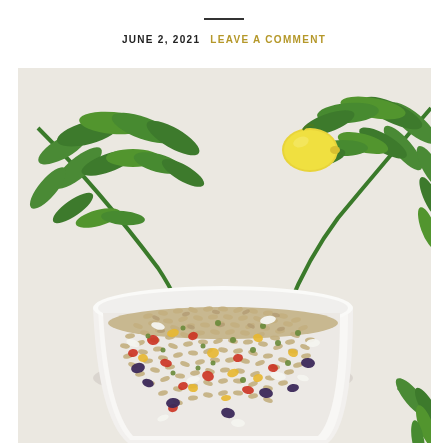JUNE 2, 2021   LEAVE A COMMENT
[Figure (photo): Overhead view of a white bowl filled with orzo pasta salad containing red peppers, yellow peppers, olives, capers, and feta cheese. Green leafy branches and a lemon are arranged around the bowl on a white surface.]